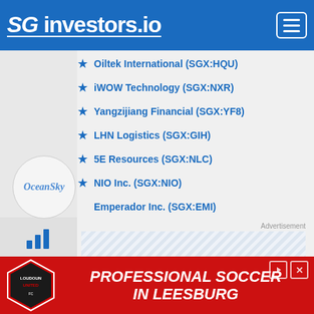SG investors.io
Oiltek International (SGX:HQU)
iWOW Technology (SGX:NXR)
Yangzijiang Financial (SGX:YF8)
LHN Logistics (SGX:GIH)
5E Resources (SGX:NLC)
NIO Inc. (SGX:NIO)
Emperador Inc. (SGX:EMI)
[Figure (logo): OceanSky logo circle]
[Figure (infographic): Advertisement striped placeholder area]
SGinvestors.io
about a week ago
[Figure (infographic): Bottom banner advertisement: PROFESSIONAL SOCCER IN LEESBURG with Loudoun United FC logo]